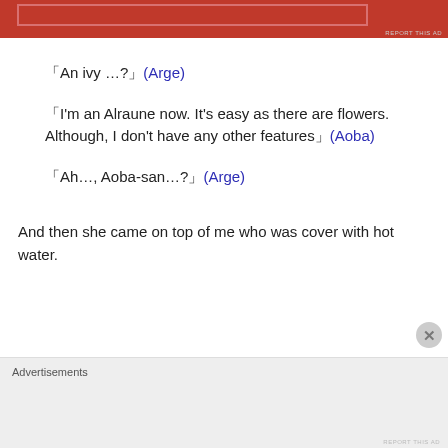[Figure (other): Red advertisement banner at top of page with inner outlined rectangle]
「An ivy …?」(Arge)
「I'm an Alraune now. It's easy as there are flowers. Although, I don't have any other features」(Aoba)
「Ah…, Aoba-san…?」(Arge)
And then she came on top of me who was cover with hot water.
[Figure (other): Grey advertisement banner at bottom of page with Advertisements label]